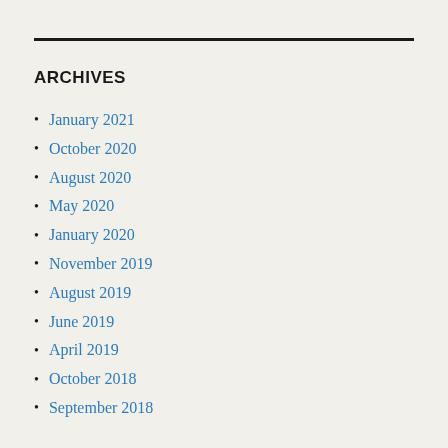ARCHIVES
January 2021
October 2020
August 2020
May 2020
January 2020
November 2019
August 2019
June 2019
April 2019
October 2018
September 2018